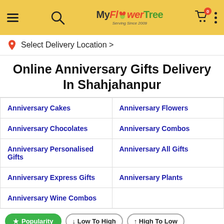MyFlowerTree - Serving Since 2009 header with navigation icons
📍 Select Delivery Location >
Online Anniversary Gifts Delivery In Shahjahanpur
Anniversary Cakes
Anniversary Flowers
Anniversary Chocolates
Anniversary Combos
Anniversary Personalised Gifts
Anniversary All Gifts
Anniversary Express Gifts
Anniversary Plants
Anniversary Wine Combos
★ Popularity | ↓ Low To High | ↑ High To Low
[Figure (photo): Two product images: a personalised mug with a couple's photo on the left, and a decorated cake with fruit flower design on the right]